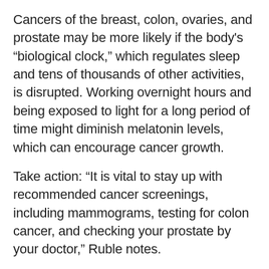Cancers of the breast, colon, ovaries, and prostate may be more likely if the body's “biological clock,” which regulates sleep and tens of thousands of other activities, is disrupted. Working overnight hours and being exposed to light for a long period of time might diminish melatonin levels, which can encourage cancer growth.
Take action: “It is vital to stay up with recommended cancer screenings, including mammograms, testing for colon cancer, and checking your prostate by your doctor,” Ruble notes.